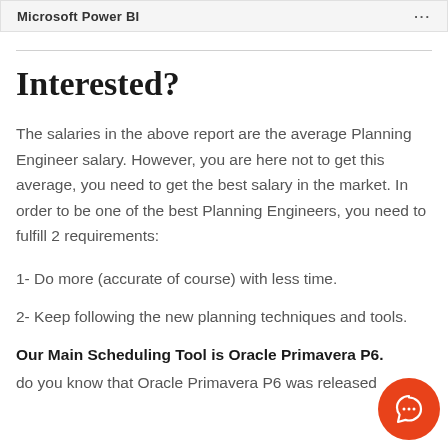| Microsoft Power BI |  |
| --- | --- |
Interested?
The salaries in the above report are the average Planning Engineer salary. However, you are here not to get this average, you need to get the best salary in the market. In order to be one of the best Planning Engineers, you need to fulfill 2 requirements:
1- Do more (accurate of course) with less time.
2- Keep following the new planning techniques and tools.
Our Main Scheduling Tool is Oracle Primavera P6. do you know that Oracle Primavera P6 was released in 2009 and since then no big changes were made? It
[Figure (illustration): Orange circular chat bubble button in bottom right corner]